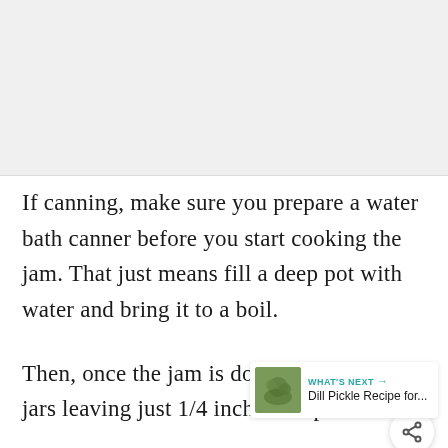[Figure (photo): Top portion of page showing a food/recipe image, partially visible, gray placeholder area]
If canning, make sure you prepare a water bath canner before you start cooking the jam. That just means fill a deep pot with water and bring it to a boil.
Then, once the jam is done, fill the jars leaving just 1/4 inch headspace.